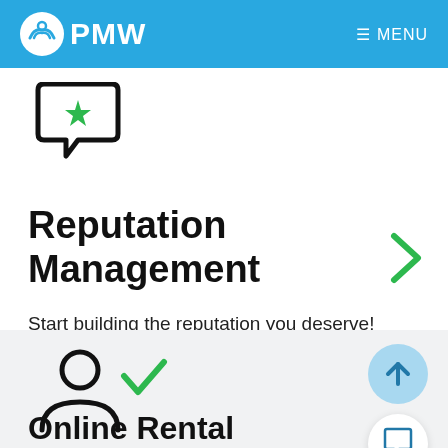PMW  ≡ MENU
[Figure (illustration): Chat bubble icon with a green bookmark/ribbon inside, outlined in dark color]
Reputation Management
Start building the reputation you deserve!
[Figure (illustration): Green right-angle chevron arrow pointing right]
[Figure (illustration): Person/user icon (circle head and body outline) with a green checkmark to the right]
Online Rental
[Figure (illustration): Blue circular scroll-to-top button with upward arrow]
[Figure (illustration): White circular chat/message button with blue speech bubble icon]